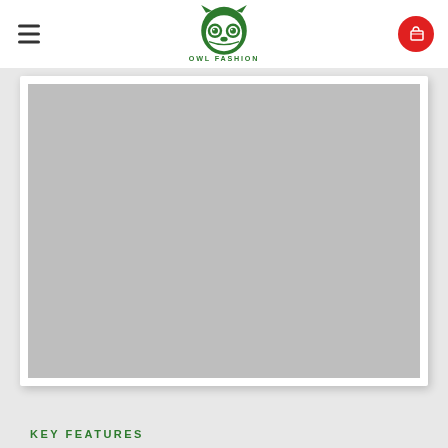OWL FASHION
[Figure (photo): Product image placeholder (gray rectangle) on white card with drop shadow, resembling a product listing image area on an e-commerce website]
KEY FEATURES